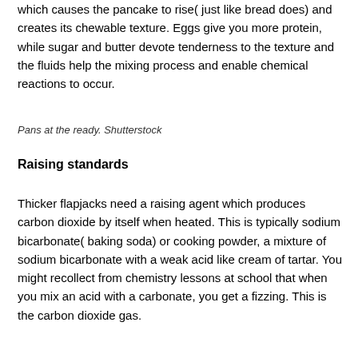which causes the pancake to rise( just like bread does) and creates its chewable texture. Eggs give you more protein, while sugar and butter devote tenderness to the texture and the fluids help the mixing process and enable chemical reactions to occur.
Pans at the ready. Shutterstock
Raising standards
Thicker flapjacks need a raising agent which produces carbon dioxide by itself when heated. This is typically sodium bicarbonate( baking soda) or cooking powder, a mixture of sodium bicarbonate with a weak acid like cream of tartar. You might recollect from chemistry lessons at school that when you mix an acid with a carbonate, you get a fizzing. This is the carbon dioxide gas.